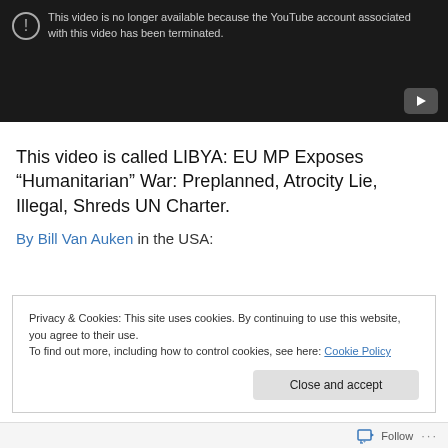[Figure (screenshot): YouTube video unavailable screen with dark background showing message: 'This video is no longer available because the YouTube account associated with this video has been terminated.' with a YouTube play button icon in the bottom right.]
This video is called LIBYA: EU MP Exposes “Humanitarian” War: Preplanned, Atrocity Lie, Illegal, Shreds UN Charter.
By Bill Van Auken in the USA:
Privacy & Cookies: This site uses cookies. By continuing to use this website, you agree to their use.
To find out more, including how to control cookies, see here: Cookie Policy
Close and accept
Follow ...